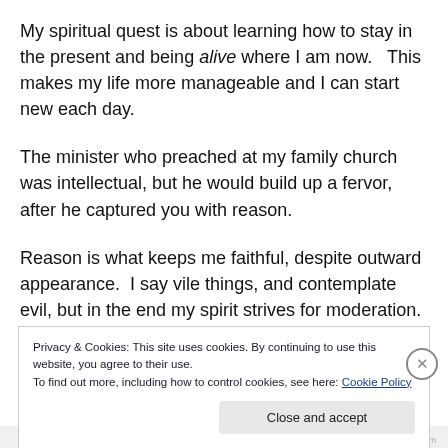My spiritual quest is about learning how to stay in the present and being alive where I am now.  This makes my life more manageable and I can start new each day.
The minister who preached at my family church was intellectual, but he would build up a fervor, after he captured you with reason.
Reason is what keeps me faithful, despite outward appearance.  I say vile things, and contemplate evil, but in the end my spirit strives for moderation.  Mostly I walk in a
Privacy & Cookies: This site uses cookies. By continuing to use this website, you agree to their use.
To find out more, including how to control cookies, see here: Cookie Policy